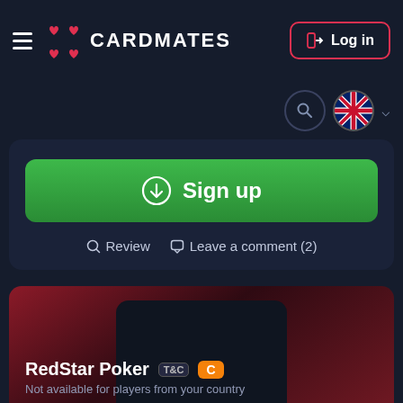CARDMATES
[Figure (screenshot): Sign up button (green rounded rectangle with download icon)]
Review   Leave a comment (2)
[Figure (screenshot): RedStar Poker card/logo image area with dark card placeholder on red gradient background]
RedStar Poker
Not available for players from your country